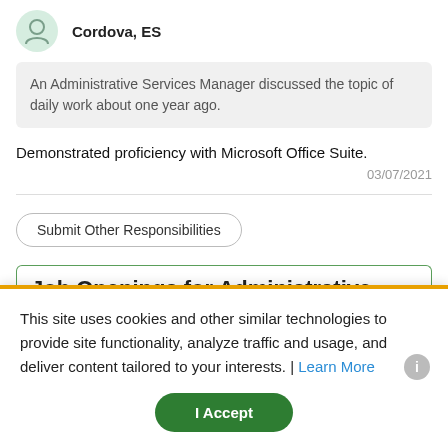Cordova, ES
An Administrative Services Manager discussed the topic of daily work about one year ago.
Demonstrated proficiency with Microsoft Office Suite.
03/07/2021
Submit Other Responsibilities
Job Openings for Administrative
This site uses cookies and other similar technologies to provide site functionality, analyze traffic and usage, and deliver content tailored to your interests. | Learn More
I Accept